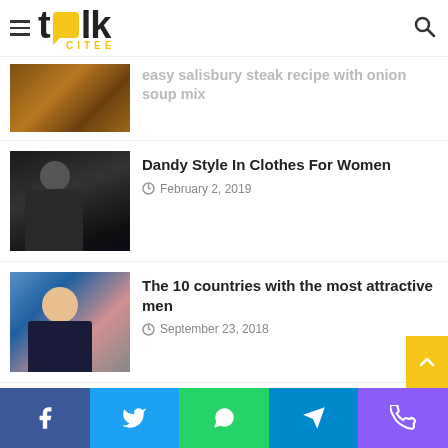talk citee logo with hamburger menu and search icon
easy salisbury steak recipe with onion soup mix
Dandy Style In Clothes For Women
February 2, 2019
[Figure (photo): Person in dandy style clothing with hat and suit]
The 10 countries with the most attractive men
September 23, 2018
[Figure (photo): Smiling young man in suit and tie at public event]
What to Consider When Looking at Property to Buy
December 16, 2020
Social share bar: Facebook, Twitter, WhatsApp, Telegram, Phone